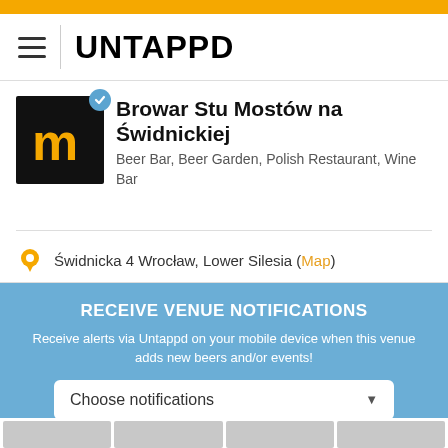UNTAPPD
Browar Stu Mostów na Świdnickiej
Beer Bar, Beer Garden, Polish Restaurant, Wine Bar
Świdnicka 4 Wrocław, Lower Silesia (Map)
RECEIVE VENUE NOTIFICATIONS
Receive alerts via Untappd on your mobile device when this venue adds new beers and/or events!
Choose notifications
More Venue Details